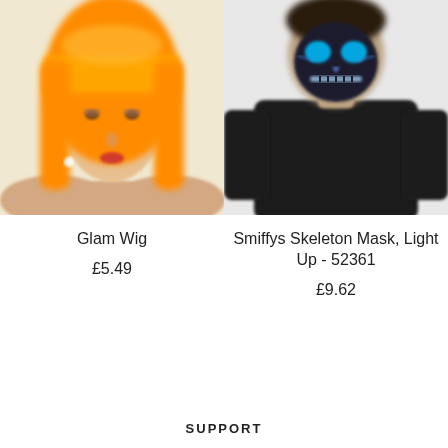[Figure (photo): Person wearing an orange/yellow bob wig with bangs, glamour style, blurred background]
Glam Wig
£5.49
[Figure (photo): Person in black t-shirt wearing a light-up skeleton face mask, blurred background]
Smiffys Skeleton Mask, Light Up - 52361
£9.62
SUPPORT